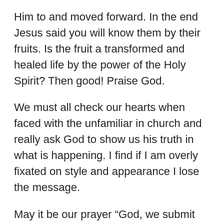Him to and moved forward. In the end Jesus said you will know them by their fruits. Is the fruit a transformed and healed life by the power of the Holy Spirit? Then good! Praise God.
We must all check our hearts when faced with the unfamiliar in church and really ask God to show us his truth in what is happening. I find if I am overly fixated on style and appearance I lose the message.
May it be our prayer “God, we submit ourselves to You to demonstrate your presence here today as You see fit. We desire the supernatural. We recognize that only You can transform hearts, raise the dead and heal the sick. We believe that you still do these things today and by faith we